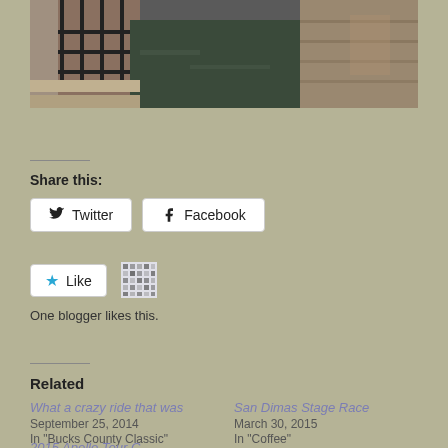[Figure (photo): A narrow canal or drainage channel between stone walls, with a metal railing fence along the left side. Urban waterway with low water level.]
Share this:
Twitter  Facebook
Like  One blogger likes this.
Related
What a crazy ride that was
September 25, 2014
In "Bucks County Classic"
San Dimas Stage Race
March 30, 2015
In "Coffee"
2015 Apollo Tour C…